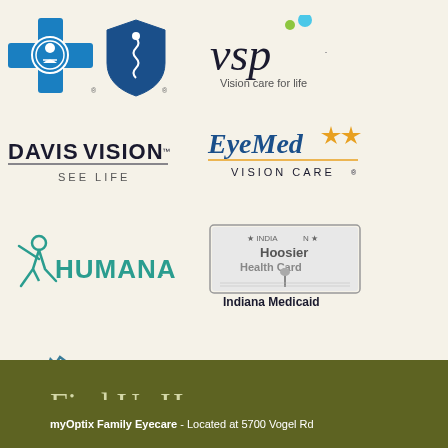[Figure (logo): BlueCross BlueShield logo - blue cross and blue shield icons]
[Figure (logo): VSP Vision care for life logo with teal dots]
[Figure (logo): Davis Vision SEE LIFE logo]
[Figure (logo): EyeMed Vision Care logo with gold stars]
[Figure (logo): Humana logo with teal person figure]
[Figure (logo): Indiana Medicaid Hoosier Health Card logo]
[Figure (logo): Spectera Eyecare Networks logo]
Find Us Here
myOptix Family Eyecare - Located at 5700 Vogel Rd